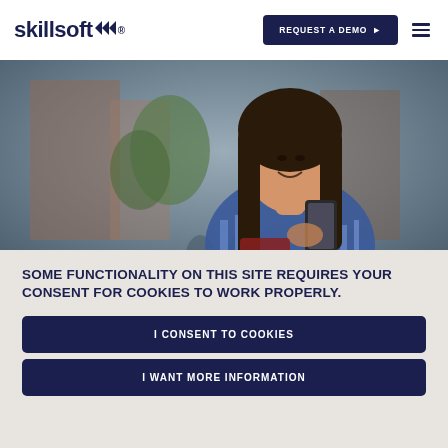skillsoft® | REQUEST A DEMO
[Figure (photo): A young woman with long dark hair smiling and looking at her smartphone, wearing a blue striped top, standing outdoors on a city street with blurred brick buildings and people in the background.]
SOME FUNCTIONALITY ON THIS SITE REQUIRES YOUR CONSENT FOR COOKIES TO WORK PROPERLY.
I CONSENT TO COOKIES
I WANT MORE INFORMATION